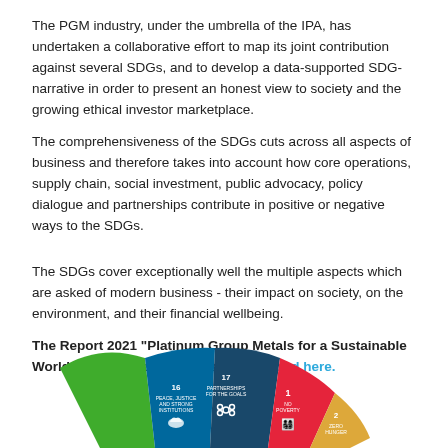The PGM industry, under the umbrella of the IPA, has undertaken a collaborative effort to map its joint contribution against several SDGs, and to develop a data-supported SDG-narrative in order to present an honest view to society and the growing ethical investor marketplace.
The comprehensiveness of the SDGs cuts across all aspects of business and therefore takes into account how core operations, supply chain, social investment, public advocacy, policy dialogue and partnerships contribute in positive or negative ways to the SDGs.
The SDGs cover exceptionally well the multiple aspects which are asked of modern business - their impact on society, on the environment, and their financial wellbeing.
The Report 2021 "Platinum Group Metals for a Sustainable World - SDG Mapping can be downloaded here.
[Figure (infographic): Partial SDG wheel/fan diagram showing colored segments for SDG goals 1, 2, 16, 17 with icons and numbers visible at the bottom of the page]